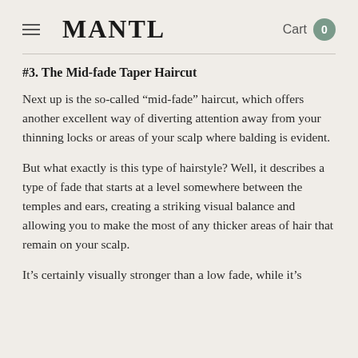MANTL  Cart 0
#3. The Mid-fade Taper Haircut
Next up is the so-called “mid-fade” haircut, which offers another excellent way of diverting attention away from your thinning locks or areas of your scalp where balding is evident.
But what exactly is this type of hairstyle? Well, it describes a type of fade that starts at a level somewhere between the temples and ears, creating a striking visual balance and allowing you to make the most of any thicker areas of hair that remain on your scalp.
It’s certainly visually stronger than a low fade, while it’s